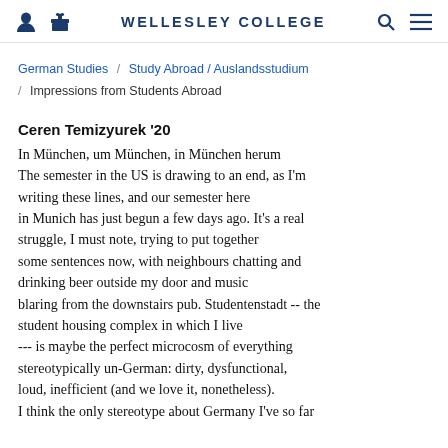WELLESLEY COLLEGE
German Studies / Study Abroad / Auslandsstudium / Impressions from Students Abroad
Ceren Temizyurek '20
In München, um München, in München herum
The semester in the US is drawing to an end, as I'm writing these lines, and our semester here in Munich has just begun a few days ago. It's a real struggle, I must note, trying to put together some sentences now, with neighbours chatting and drinking beer outside my door and music blaring from the downstairs pub. Studentenstadt -- the student housing complex in which I live --- is maybe the perfect microcosm of everything stereotypically un-German: dirty, dysfunctional, loud, inefficient (and we love it, nonetheless).
I think the only stereotype about Germany I've so far